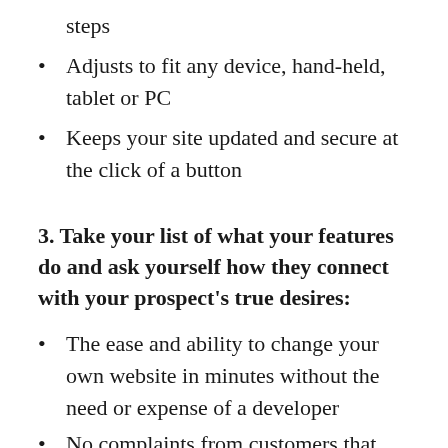steps
Adjusts to fit any device, hand-held, tablet or PC
Keeps your site updated and secure at the click of a button
3. Take your list of what your features do and ask yourself how they connect with your prospect's true desires:
The ease and ability to change your own website in minutes without the need or expense of a developer
No complaints from customers that they